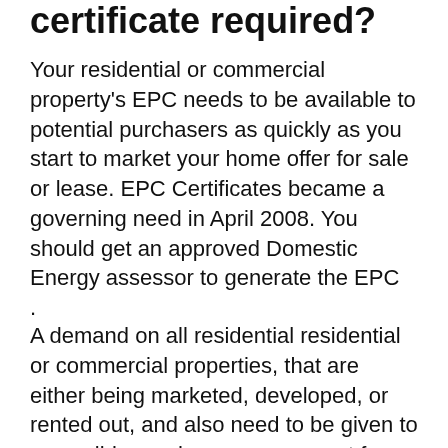certificate required?
Your residential or commercial property's EPC needs to be available to potential purchasers as quickly as you start to market your home offer for sale or lease. EPC Certificates became a governing need in April 2008. You should get an approved Domestic Energy assessor to generate the EPC
.
A demand on all residential residential or commercial properties, that are either being marketed, developed, or rented out, and also need to be given to a possible purchaser or occupant for free.
Are there any cases whereby